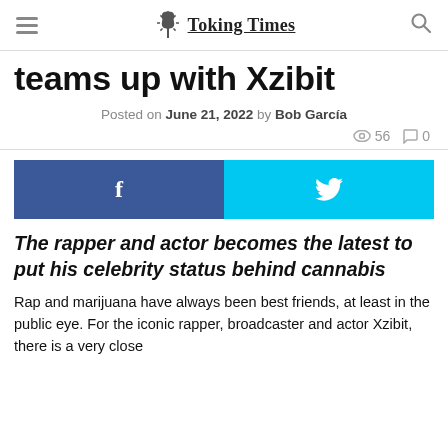Toking Times
teams up with Xzibit
Posted on June 21, 2022 by Bob García
👁 56  💬 0
[Figure (infographic): Social share buttons: Facebook (f) and Twitter (bird icon)]
The rapper and actor becomes the latest to put his celebrity status behind cannabis
Rap and marijuana have always been best friends, at least in the public eye. For the iconic rapper, broadcaster and actor Xzibit, there is a very close